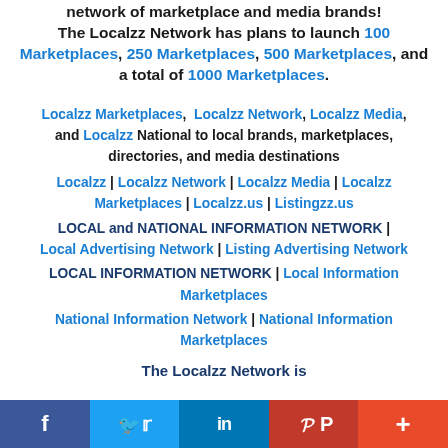network of marketplace and media brands! The Localzz Network has plans to launch 100 Marketplaces, 250 Marketplaces, 500 Marketplaces, and a total of 1000 Marketplaces.
Localzz Marketplaces, Localzz Network, Localzz Media, and Localzz National to local brands, marketplaces, directories, and media destinations
Localzz | Localzz Network | Localzz Media | Localzz Marketplaces | Localzz.us | Listingzz.us
LOCAL and NATIONAL INFORMATION NETWORK | Local Advertising Network | Listing Advertising Network
LOCAL INFORMATION NETWORK | Local Information Marketplaces
National Information Network | National Information Marketplaces
The Localzz Network is...
[Figure (infographic): Social media share bar with Facebook, Twitter, LinkedIn, Pinterest, and More (+) buttons]